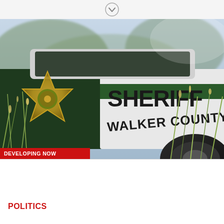[Figure (photo): Close-up photo of a Walker County Sheriff's Department patrol vehicle door showing the sheriff's star badge emblem and 'SHERIFF / WALKER COUNTY' text on the side of the car, with grass in the foreground and blurred background.]
DEVELOPING NOW
TWO DEAD, ONE INJURED IN HOME INVASION
CARBON HILL - WALKER COUNTY
POLITICS